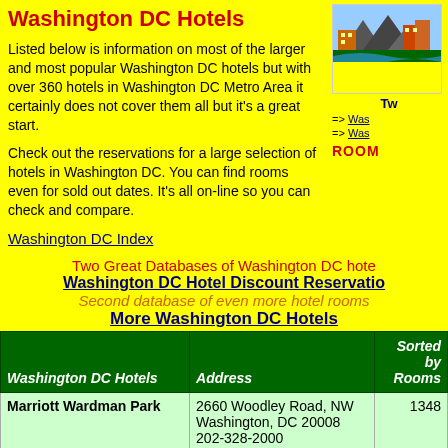Washington DC Hotels
Listed below is information on most of the larger and most popular Washington DC hotels but with over 360 hotels in Washington DC Metro Area it certainly does not cover them all but it's a great start.
Check out the reservations for a large selection of hotels in Washington DC. You can find rooms even for sold out dates. It's all on-line so you can check and compare.
Washington DC Index
Two Great Databases of Washington DC hote
Washington DC Hotel Discount Reservation
Second database of even more hotel rooms
More Washington DC Hotels
| Washington DC Hotels | Address | Sorted by Rooms |
| --- | --- | --- |
| Marriott Wardman Park | 2660 Woodley Road, NW
Washington, DC 20008
202-328-2000
202-234-0015 (FAX) | 1348 |
| Washington Hilton & Towers | 1919 Connecticut Avenue, NW | 1123 |